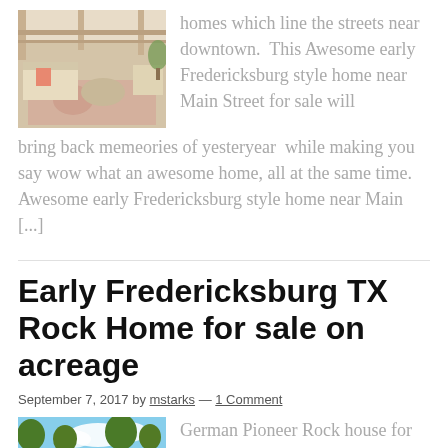[Figure (photo): Outdoor patio/porch area with sofa, armchairs, coffee table, and decorative rug]
homes which line the streets near downtown.  This Awesome early Fredericksburg style home near Main Street for sale will bring back memeories of yesteryear  while making you say wow what an awesome home, all at the same time.  Awesome early Fredericksburg style home near Main [...]
Early Fredericksburg TX Rock Home for sale on acreage
September 7, 2017 by mstarks — 1 Comment
[Figure (photo): Outdoor property photo with trees and sky]
German Pioneer Rock house for